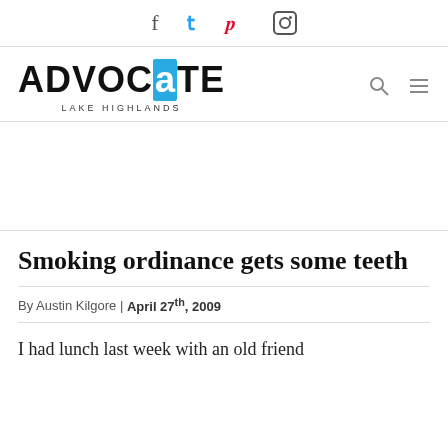Social media icons: Facebook, Twitter, Pinterest, Instagram
[Figure (logo): Advocate Lake Highlands logo - black bold text with cyan/blue 'a' letter box, subtitle 'LAKE HIGHLANDS']
Smoking ordinance gets some teeth
By Austin Kilgore | April 27th, 2009
I had lunch last week with an old friend